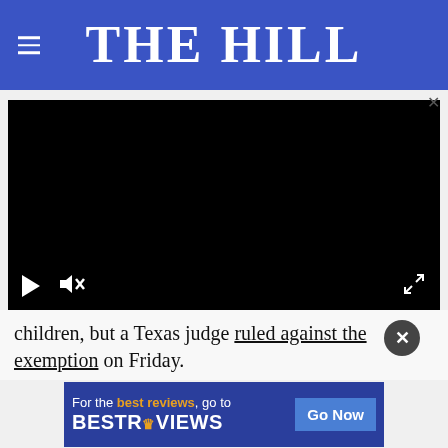THE HILL
[Figure (screenshot): Embedded video player with black screen, play button, mute button, and fullscreen button visible]
children, but a Texas judge ruled against the exemption on Friday.
[Figure (infographic): Advertisement banner: 'For the best reviews, go to BESTREVIEWS' with a 'Go Now' button]
A sep... can be expelled under the order, but not to